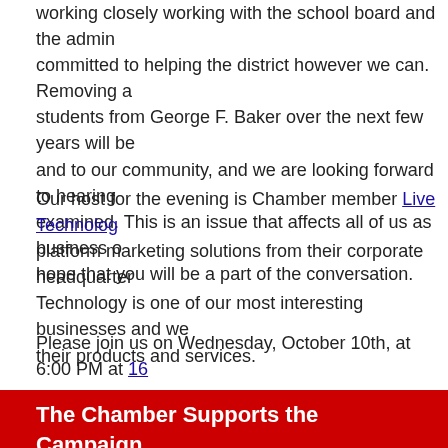working closely working with the school board and the administration, committed to helping the district however we can. Removing a students from George F. Baker over the next few years will be and to our community, and we are looking forward to hearing examined. This is an issue that affects all of us as business o hope that you will be a part of the conversation.
Our host for the evening is Chamber member Live Technology platform marketing solutions from their corporate headquarters. Technology is one of our most interesting businesses and we their products and services.
Please join us on Wednesday, October 10th, at 6:00 PM at 16
The Chamber Supports the Campaign Walk
Walk for Choice
Protest Walk Against the Greenwood Lake Board of Education
Wednesday, September 19th, 5:00 PM